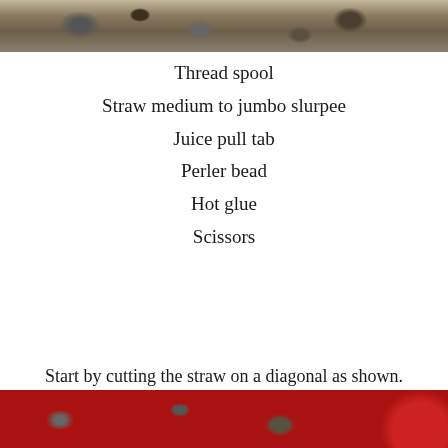[Figure (photo): Photo of granular rocky/sandy surface at top of page]
Thread spool
Straw medium to jumbo slurpee
Juice pull tab
Perler bead
Hot glue
Scissors
Start by cutting the straw on a diagonal as shown.
[Figure (photo): Photo of granular rocky/sandy surface at bottom of page with red object at right edge]